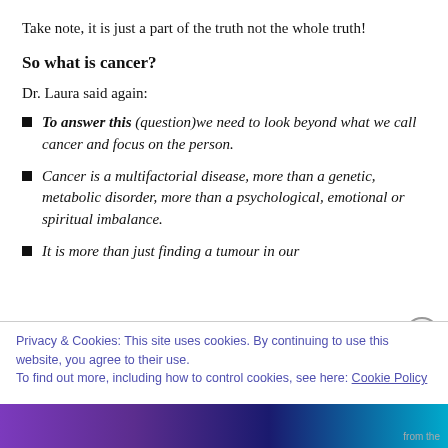Take note, it is just a part of the truth not the whole truth!
So what is cancer?
Dr. Laura said again:
To answer this (question)we need to look beyond what we call cancer and focus on the person.
Cancer is a multifactorial disease, more than a genetic, metabolic disorder, more than a psychological, emotional or spiritual imbalance.
It is more than just finding a tumour in our
Privacy & Cookies: This site uses cookies. By continuing to use this website, you agree to their use.
To find out more, including how to control cookies, see here: Cookie Policy
Close and accept